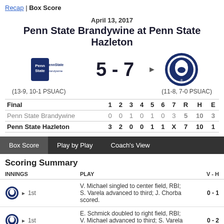Recap | Box Score
April 13, 2017
Penn State Brandywine at Penn State Hazleton
[Figure (infographic): Score display: Penn State Brandywine logo (13-9, 10-1 PSUAC) vs Penn State Hazleton logo (11-8, 7-0 PSUAC), score 5 - 7 with right arrow]
| Final | 1 | 2 | 3 | 4 | 5 | 6 | 7 | R | H | E |
| --- | --- | --- | --- | --- | --- | --- | --- | --- | --- | --- |
| Penn State Brandywine | 0 | 0 | 1 | 0 | 1 | 0 | 3 | 5 | 10 | 3 |
| Penn State Hazleton | 3 | 2 | 0 | 0 | 1 | 1 | X | 7 | 10 | 1 |
Box Score | Play by Play | Coach's View
Scoring Summary
| INNINGS | PLAY | V - H |
| --- | --- | --- |
| 1st | V. Michael singled to center field, RBI; S. Varela advanced to third; J. Chorba scored. | 0 - 1 |
| 1st | E. Schmick doubled to right field, RBI; V. Michael advanced to third; S. Varela scored. | 0 - 2 |